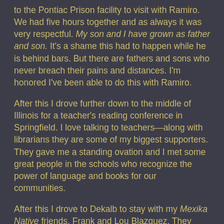to the Pontiac Prison facility to visit with Ramiro. We had five hours together and as always it was very respectful. My son and I have grown as father and son. It's a shame this had to happen while he is behind bars. But there are fathers and sons who never breach their pains and distances. I'm honored I've been able to do this with Ramiro.
After this I drove further down to the middle of Illinois for a teacher's reading conference in Springfield. I love talking to teachers—along with librarians they are some of my biggest supporters. They gave me a standing ovation and I met some great people in the schools who recognize the power of language and books for our communities.
After this I drove to Dekalb to stay with my Mexika Native friends, Frank and Lou Blazquez. They have a huge backyard where they built a sweat lodge, guided by their Lakota teacher, Ed Young-Man-Afraid-Of-His-Horses. It was good to see old friends, including the Blazquez kids, Tommy and Frank Jr. (as soon as I get it). The...